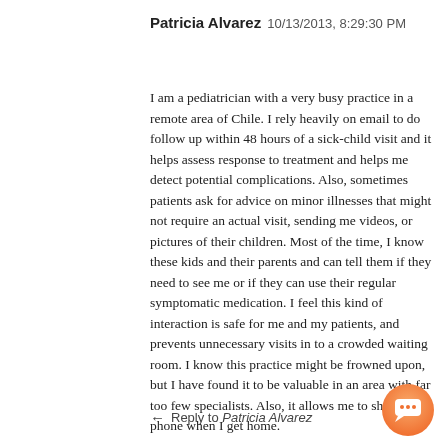Patricia Alvarez 10/13/2013, 8:29:30 PM
I am a pediatrician with a very busy practice in a remote area of Chile. I rely heavily on email to do follow up within 48 hours of a sick-child visit and it helps assess response to treatment and helps me detect potential complications. Also, sometimes patients ask for advice on minor illnesses that might not require an actual visit, sending me videos, or pictures of their children. Most of the time, I know these kids and their parents and can tell them if they need to see me or if they can use their regular symptomatic medication. I feel this kind of interaction is safe for me and my patients, and prevents unnecessary visits in to a crowded waiting room. I know this practice might be frowned upon, but I have found it to be valuable in an area with far too few specialists. Also, it allows me to shut off my phone when I get home.
← Reply to Patricia Alvarez